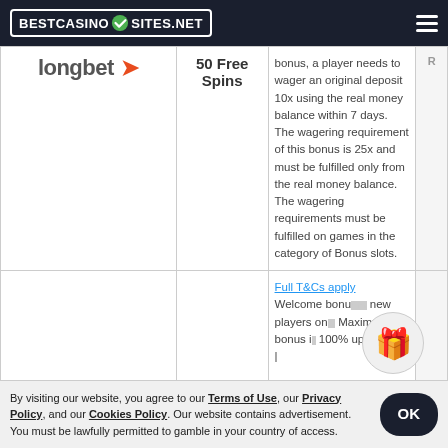BESTCASINO SITES.NET
| Casino | Bonus | Description | R |
| --- | --- | --- | --- |
| longbet | 50 Free Spins | bonus, a player needs to wager an original deposit 10x using the real money balance within 7 days. The wagering requirement of this bonus is 25x and must be fulfilled only from the real money balance. The wagering requirements must be fulfilled on games in the category of Bonus slots. | R |
|  |  | Full T&Cs apply Welcome bonus new players only. Maximum bonus is 100% up to £100 | |  |
By visiting our website, you agree to our Terms of Use, our Privacy Policy, and our Cookies Policy. Our website contains advertisement. You must be lawfully permitted to gamble in your country of access.